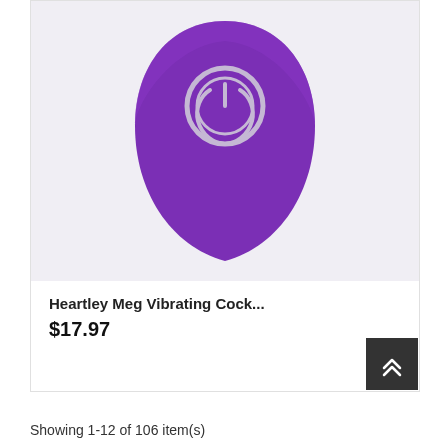[Figure (photo): Purple vibrating device with circular power button on top, shown against a light lavender/white background]
Heartley Meg Vibrating Cock...
$17.97
[Figure (other): Scroll to top button - dark square with double upward chevron arrows]
Showing 1-12 of 106 item(s)